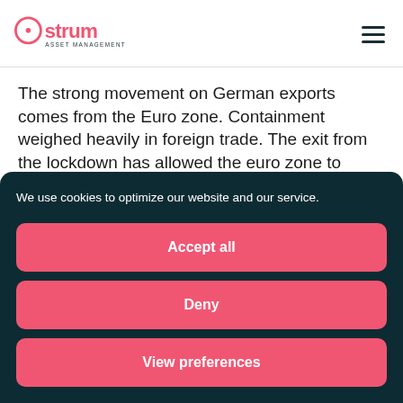Ostrum Asset Management
The strong movement on German exports comes from the Euro zone. Containment weighed heavily in foreign trade. The exit from the lockdown has allowed the euro zone to catch up but it is likely that
We use cookies to optimize our website and our service.
Accept all
Deny
View preferences